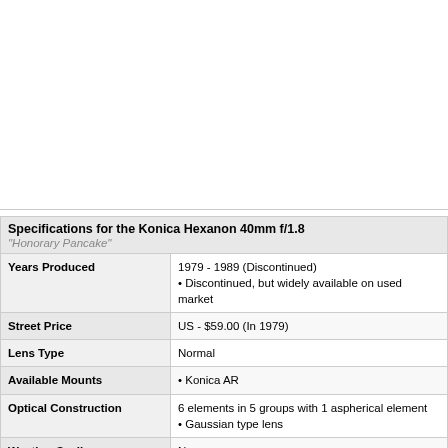[Figure (photo): Blank white image area at top of page, presumably where a photo of the Konica Hexanon 40mm f/1.8 lens would appear.]
| Specifications for the Konica Hexanon 40mm f/1.8 "Honorary Pancake" |  |
| --- | --- |
| Years Produced | 1979 - 1989 (Discontinued)
• Discontinued, but widely available on used market |
| Street Price | US - $59.00 (In 1979) |
| Lens Type | Normal |
| Available Mounts | • Konica AR |
| Optical Construction | 6 elements in 5 groups with 1 aspherical element
• Gaussian type lens |
| Weather Sealing | No |